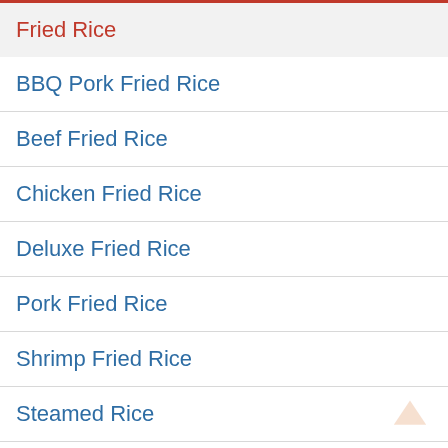Fried Rice
BBQ Pork Fried Rice
Beef Fried Rice
Chicken Fried Rice
Deluxe Fried Rice
Pork Fried Rice
Shrimp Fried Rice
Steamed Rice
Vegetable Fried Rice
Lerttuce Cups